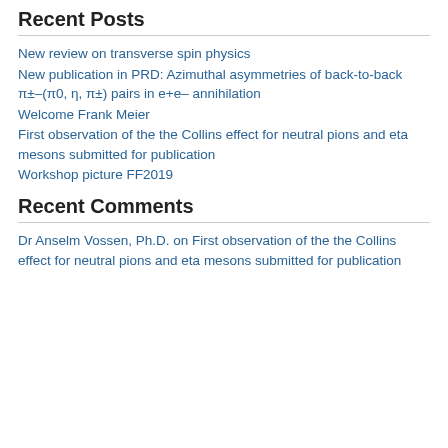Recent Posts
New review on transverse spin physics
New publication in PRD: Azimuthal asymmetries of back-to-back π±–(π0, η, π±) pairs in e+e– annihilation
Welcome Frank Meier
First observation of the the Collins effect for neutral pions and eta mesons submitted for publication
Workshop picture FF2019
Recent Comments
Dr Anselm Vossen, Ph.D. on First observation of the the Collins effect for neutral pions and eta mesons submitted for publication